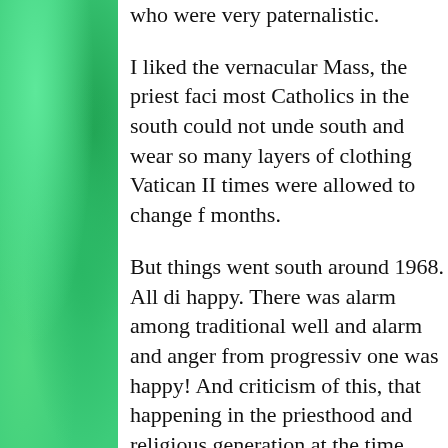who were very paternalistic.
I liked the vernacular Mass, the priest faci most Catholics in the south could not unde south and wear so many layers of clothing Vatican II times were allowed to change f months.
But things went south around 1968. All di happy. There was alarm among traditional well and alarm and anger from progressiv one was happy! And criticism of this, that happening in the priesthood and religious generation at the time were aghast at Hum and what was seen as the Church meddlin